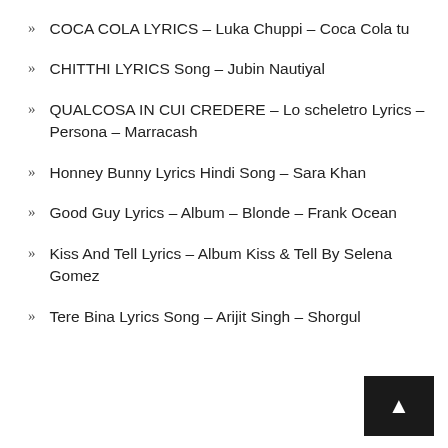COCA COLA LYRICS – Luka Chuppi – Coca Cola tu
CHITTHI LYRICS Song – Jubin Nautiyal
QUALCOSA IN CUI CREDERE – Lo scheletro Lyrics – Persona – Marracash
Honney Bunny Lyrics Hindi Song – Sara Khan
Good Guy Lyrics – Album – Blonde – Frank Ocean
Kiss And Tell Lyrics – Album Kiss & Tell By Selena Gomez
Tere Bina Lyrics Song – Arijit Singh – Shorgul